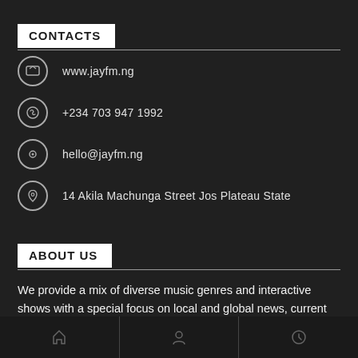CONTACTS
www.jayfm.ng
+234 703 947 1992
hello@jayfm.ng
14 Akila Machunga Street Jos Plateau State
ABOUT US
We provide a mix of diverse music genres and interactive shows with a special focus on local and global news, current affairs, sports, and exciting programs
Discover more